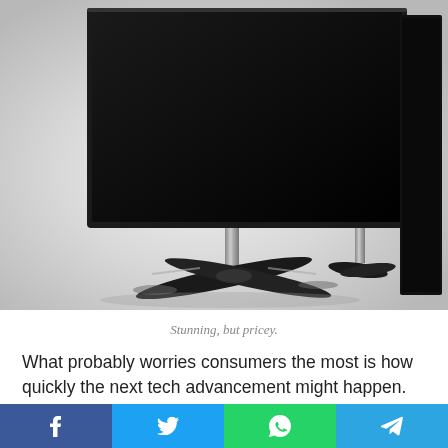[Figure (photo): A sleek black flat-screen television with a slim bezel mounted on a modern chrome/silver X-shaped stand, photographed against a light gray-white gradient background. A second smaller black panel is visible to the right.]
Stunning, but pricey.
What probably worries consumers the most is how quickly the next tech advancement might happen. This is totally understandable, too. The next step towards a higher resolution, however, won't be within the PS4's